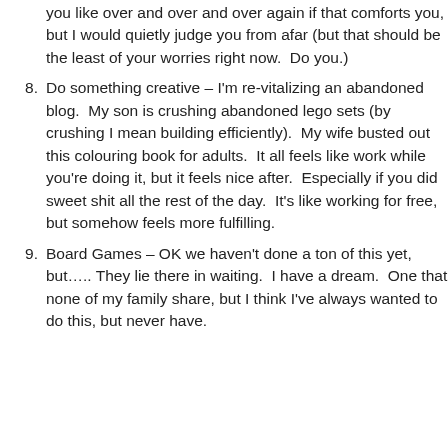(continuation) you like over and over and over again if that comforts you, but I would quietly judge you from afar (but that should be the least of your worries right now.  Do you.)
8. Do something creative – I'm re-vitalizing an abandoned blog.  My son is crushing abandoned lego sets (by crushing I mean building efficiently).  My wife busted out this colouring book for adults.  It all feels like work while you're doing it, but it feels nice after.  Especially if you did sweet shit all the rest of the day.  It's like working for free, but somehow feels more fulfilling.
9. Board Games – OK we haven't done a ton of this yet, but….. They lie there in waiting.  I have a dream.  One that none of my family share, but I think I've always wanted to do this, but never have.